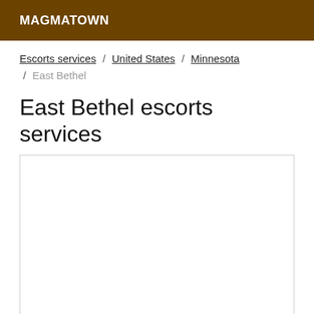MAGMATOWN
Escorts services / United States / Minnesota / East Bethel
East Bethel escorts services
[Figure (other): Empty white content box with border]